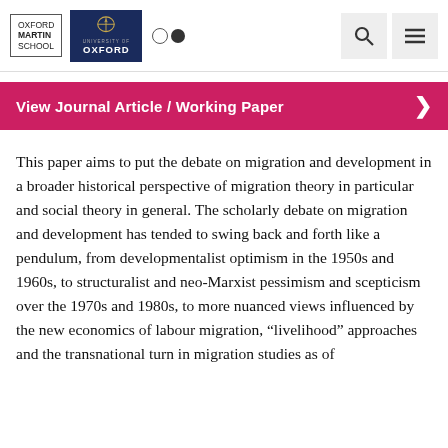[Figure (logo): Oxford Martin School and University of Oxford logos side by side in header]
View Journal Article / Working Paper
This paper aims to put the debate on migration and development in a broader historical perspective of migration theory in particular and social theory in general. The scholarly debate on migration and development has tended to swing back and forth like a pendulum, from developmentalist optimism in the 1950s and 1960s, to structuralist and neo-Marxist pessimism and scepticism over the 1970s and 1980s, to more nuanced views influenced by the new economics of labour migration, “livelihood” approaches and the transnational turn in migration studies as of